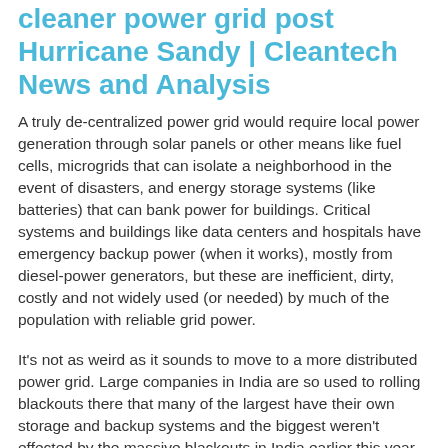cleaner power grid post Hurricane Sandy | Cleantech News and Analysis
A truly de-centralized power grid would require local power generation through solar panels or other means like fuel cells, microgrids that can isolate a neighborhood in the event of disasters, and energy storage systems (like batteries) that can bank power for buildings. Critical systems and buildings like data centers and hospitals have emergency backup power (when it works), mostly from diesel-power generators, but these are inefficient, dirty, costly and not widely used (or needed) by much of the population with reliable grid power.
It's not as weird as it sounds to move to a more distributed power grid. Large companies in India are so used to rolling blackouts there that many of the largest have their own storage and backup systems and the biggest weren't effected by the massive blackouts in India earlier this year. Solar panels are also cheaper than they have ever been, and are being installed on the roofs of U.S. homes and businesses at a rapid rate. Of course, solar panels won't help in a nighttime storm, but if they're matched with energy